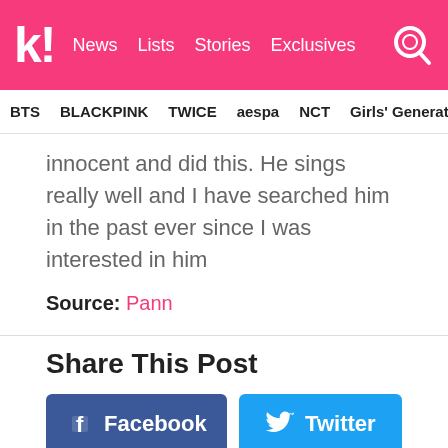kprofiles News Lists Stories Exclusives [search]
BTS BLACKPINK TWICE aespa NCT Girls' Generation
innocent and did this. He sings really well and I have searched him in the past ever since I was interested in him
Source: Pann
Share This Post
Facebook Twitter